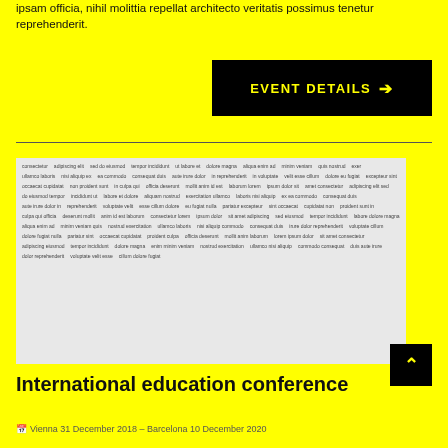ipsam officia, nihil molittia repellat architecto veritatis possimus tenetur reprehenderit.
EVENT DETAILS →
[Figure (screenshot): A grid of small gray text tags/links representing conference topics or speakers, displayed on a light gray background.]
International education conference
Vienna 31 December 2018 – Barcelona 10 December 2020